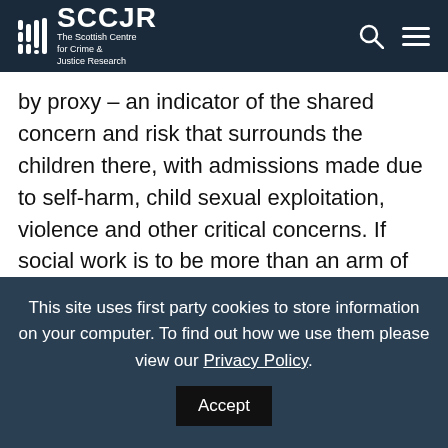SCCJR – The Scottish Centre for Crime & Justice Research
by proxy – an indicator of the shared concern and risk that surrounds the children there, with admissions made due to self-harm, child sexual exploitation, violence and other critical concerns. If social work is to be more than an arm of state control, it should aim to create communities that are free from ACEs, poverty, abuse and the million other
This site uses first party cookies to store information on your computer. To find out how we use them please view our Privacy Policy.
Accept